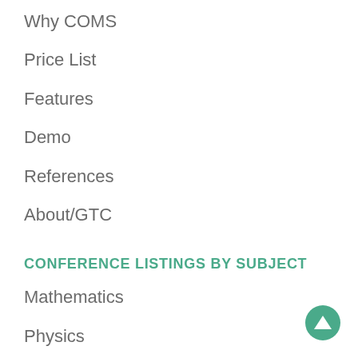Why COMS
Price List
Features
Demo
References
About/GTC
CONFERENCE LISTINGS BY SUBJECT
Mathematics
Physics
Chemistry
Informatics